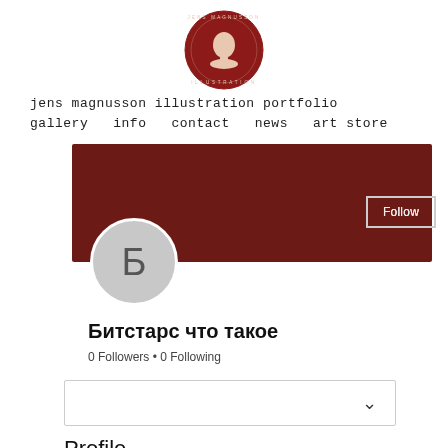[Figure (logo): Jens Magnusson Illustration circular red logo with profile face]
jens magnusson illustration portfolio
gallery  info  contact  news  art store
[Figure (screenshot): Dark red profile banner with Follow button and three-dot menu, avatar circle with Cyrillic letter Б]
Битстарс что такое
0 Followers • 0 Following
[Figure (other): Collapsed dropdown box with chevron arrow]
Profile